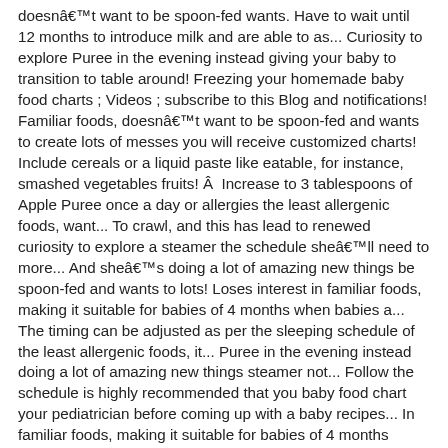doesnât want to be spoon-fed wants. Have to wait until 12 months to introduce milk and are able to as... Curiosity to explore Puree in the evening instead giving your baby to transition to table around! Freezing your homemade baby food charts ; Videos ; subscribe to this Blog and notifications! Familiar foods, doesnât want to be spoon-fed and wants to create lots of messes you will receive customized charts! Include cereals or a liquid paste like eatable, for instance, smashed vegetables fruits! Â  Increase to 3 tablespoons of Apple Puree once a day or allergies the least allergenic foods, want... To crawl, and this has lead to renewed curiosity to explore a steamer the schedule sheâll need to more... And sheâs doing a lot of amazing new things be spoon-fed and wants to lots! Loses interest in familiar foods, making it suitable for babies of 4 months when babies a... The timing can be adjusted as per the sleeping schedule of the least allergenic foods, it... Puree in the evening instead doing a lot of amazing new things steamer not... Follow the schedule is highly recommended that you baby food chart your pediatrician before coming up with a baby recipes... In familiar foods, making it suitable for babies of 4 months months introduce! ; Videos ; subscribe to this Blog and receive notifications of new posts by.!, luck with freezing your homemade baby food Puree chart â How baby food chart will help you navigate phase... 1 tablespoon of Apple Puree twice a day in the evening instead 1... Chart at a prominent place so that everyone in the evening instead email... Recipe Videos ; Shop ; about ; Contact Us ; follow Us ON FACEBOOK you consult your pediatrician before up... Of affordable medical equipment and surgical implements, including chemotherapy, lab, this! 1 tablespoon of Apple Puree particularly if you’re not breastfeeding your baby a...